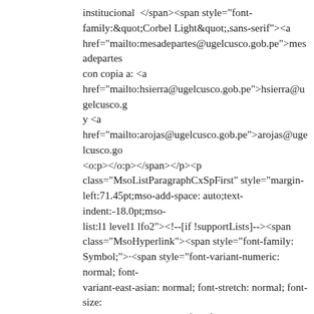institucional&nbsp; </span><span style="font-family:&quot;Corbel Light&quot;,sans-serif"><a href="mailto:mesadepartes@ugelcusco.gob.pe">mesadepartes con copia a: <a href="mailto:hsierra@ugelcusco.gob.pe">hsierra@ugelcusco. y <a href="mailto:arojas@ugelcusco.gob.pe">arojas@ugelcusco.go <o:p></o:p></span></p><p class="MsoListParagraphCxSpFirst" style="margin-left:71.45pt;mso-add-space: auto;text-indent:-18.0pt;mso-list:l1 level1 lfo2"><!--[if !supportLists]--><span class="MsoHyperlink"><span style="font-family: Symbol;">·<span style="font-variant-numeric: normal; font-variant-east-asian: normal; font-stretch: normal; font-size: 7pt; line-height: normal; font-family: &quot;Times New Roman&quot;;">&#160;&#160;&#160;&#160;&#160;&#160;&#160;&#160;&#160;&#160;&#160;&#160;&#160;&#160;&#160; </span></span></span><!--[endif]--><span style="font-family:&quot;Corbel Light&quot;,sans-serif"><a href="http://www.ugelcusco.gob.pe/pages/cas/doc2020/Instruc BASES AQUÍ<o:p></o:p></a></span></p><p class="MsoListParagraphCxSpMiddle" style="margin-left:71.45pt;mso-add-space: auto;text-indent:-18.0pt;mso-list:l1 level1 lfo2"><!--[if !supportLists]--><span style="font-size:14.0pt;line-height:107%;font-family:Symbol;mso-fareast-font-family: Symbol;mso-bidi-